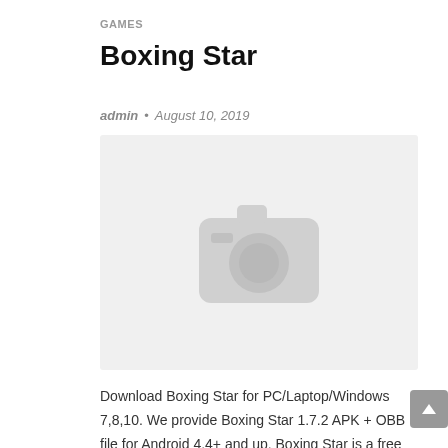GAMES
Boxing Star
admin • August 10, 2019
[Figure (photo): Placeholder image with a camera icon on a light grey background]
Download Boxing Star for PC/Laptop/Windows 7,8,10. We provide Boxing Star 1.7.2 APK + OBB file for Android 4.4+ and up. Boxing Star is a free Sports game. It\'s easy to download and install to your mobile phone. Please be aware that We only